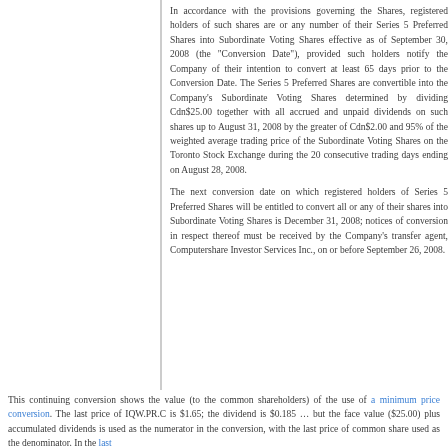In accordance with the provisions governing the Shares, registered holders of such shares are or any number of their Series 5 Preferred Shares into Subordinate Voting Shares effective as of September 30, 2008 (the "Conversion Date"), provided such holders notify the Company of their intention to convert at least 65 days prior to the Conversion Date. The Series 5 Preferred Shares are convertible into the Company's Subordinate Voting Shares determined by dividing Cdn$25.00 together with all accrued and unpaid dividends on such shares up to August 31, 2008 by the greater of Cdn$2.00 and 95% of the weighted average trading price of the Subordinate Voting Shares on the Toronto Stock Exchange during the 20 consecutive trading days ending on August 28, 2008.
The next conversion date on which registered holders of Series 5 Preferred Shares will be entitled to convert all or any of their shares into Subordinate Voting Shares is December 31, 2008; notices of conversion in respect thereof must be received by the Company's transfer agent, Computershare Investor Services Inc., on or before September 26, 2008.
This continuing conversion shows the value (to the common shareholders) of the use of a minimum price conversion. The last price of IQW.PR.C is $1.65; the dividend is $0.185 ... but the face value ($25.00) plus accumulated dividends is used as the numerator in the conversion, with the last price of common share used as the denominator. In the last